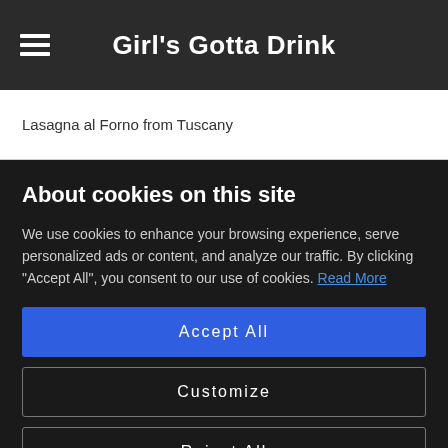Girl's Gotta Drink
Lasagna al Forno from Tuscany
About cookies on this site
We use cookies to enhance your browsing experience, serve personalized ads or content, and analyze our traffic. By clicking "Accept All", you consent to our use of cookies. Read More
Accept All
Customize
Reject All